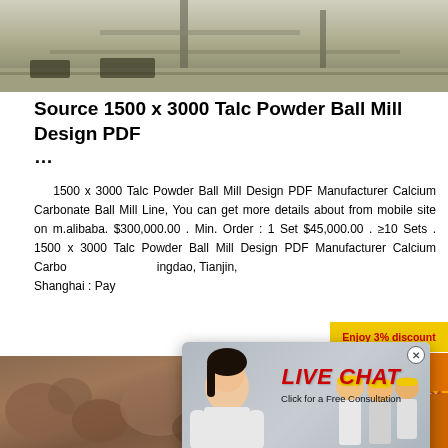[Figure (photo): Top photo of industrial ball mill equipment and structure, aerial/construction view]
Source 1500 x 3000 Talc Powder Ball Mill Design PDF …
1500 x 3000 Talc Powder Ball Mill Design PDF Manufacturer Calcium Carbonate Ball Mill Line, You can get more details about from mobile site on m.alibaba. $300,000.00 . Min. Order : 1 Set $45,000.00 . ≥10 Sets . 1500 x 3000 Talc Powder Ball Mill Design PDF Manufacturer Calcium Carbonate Ball Mill Line, Qingdao, Tianjin, Shanghai : Pay
[Figure (photo): Industrial ball mill and conveyor equipment illustration/3D render]
[Figure (photo): Orange sidebar with small images of crusher and mill equipment machines]
[Figure (screenshot): Live Chat popup overlay with woman in white shirt and workers in hard hats, red LIVE CHAT heading, 'Click for a Free Consultation' text, Chat now and Chat later buttons]
Enjoy 3% discount
Click to Chat
Enquiry
[Figure (photo): Bottom photo of rocks/ore material]